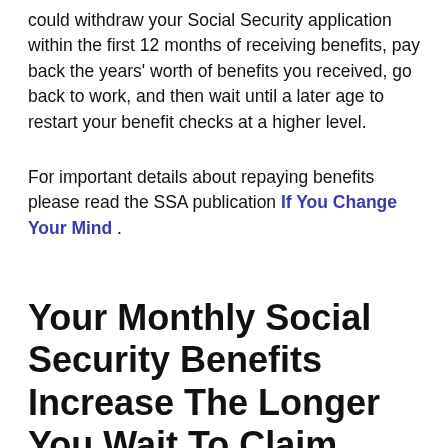could withdraw your Social Security application within the first 12 months of receiving benefits, pay back the years' worth of benefits you received, go back to work, and then wait until a later age to restart your benefit checks at a higher level.
For important details about repaying benefits please read the SSA publication If You Change Your Mind.
Your Monthly Social Security Benefits Increase The Longer You Wait To Claim
You can collect Social Security benefits as soon as you turn 62, but taking benefits before your full retirement age